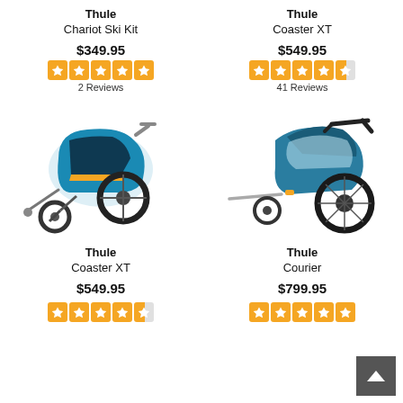Thule
Chariot Ski Kit
$349.95
2 Reviews
Thule
Coaster XT
$549.95
41 Reviews
[Figure (photo): Thule Coaster XT blue bike trailer/stroller with tow handle and front wheel]
[Figure (photo): Thule Courier blue single-seat bike trailer/stroller with large wheel and tow bar]
Thule
Coaster XT
$549.95
Thule
Courier
$799.95